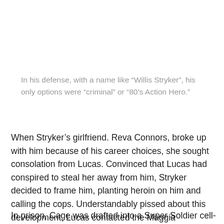In his defense, with a name like “Willis Stryker”, his only options were “criminal” or “80’s Action Hero.”
When Stryker’s girlfriend. Reva Connors, broke up with him because of his career choices, she sought consolation from Lucas. Convinced that Lucas had conspired to steal her away from him, Stryker decided to frame him, planting heroin on him and calling the cops. Understandably pissed about this development, Lucas contacted the Maggia (Because“Mafia” was trademarked, apparently) and put a hit out on Stryker, but the hit was botched, and Reva was killed while Stryker survived.
In prison, Cage was drafted into a Super Soldier cell-